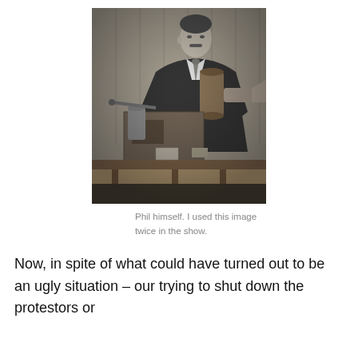[Figure (photo): Black and white historical photograph of a man in a suit holding cylindrical objects, standing next to scientific/electronic equipment on a table, with a wooden paneled background.]
Phil himself. I used this image twice in the show.
Now, in spite of what could have turned out to be an ugly situation – our trying to shut down the protestors or